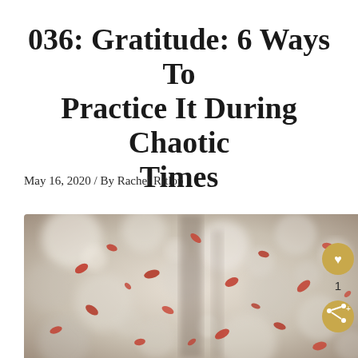036: Gratitude: 6 Ways To Practice It During Chaotic Times
May 16, 2020 / By Rachel Ritlop
[Figure (photo): Blurred bokeh photo of autumn leaves (orange/red) falling against a soft grey-white blurred background, with orange leaves scattered throughout. A golden heart icon button and share icon button appear in the bottom-right corner of the image overlay.]